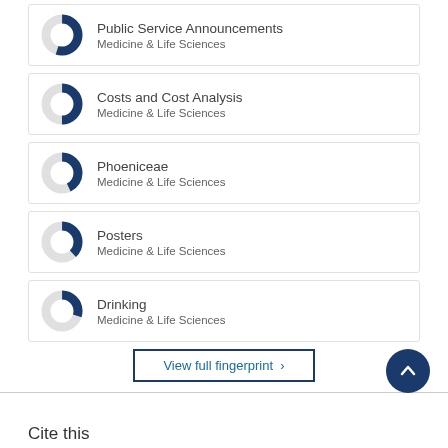Public Service Announcements — Medicine & Life Sciences
Costs and Cost Analysis — Medicine & Life Sciences
Phoeniceae — Medicine & Life Sciences
Posters — Medicine & Life Sciences
Drinking — Medicine & Life Sciences
View full fingerprint ›
Cite this